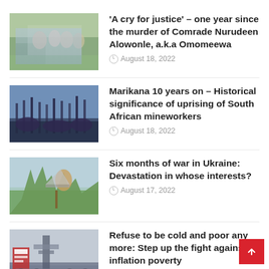'A cry for justice' – one year since the murder of Comrade Nurudeen Alowonle, a.k.a Omomeewa
Marikana 10 years on – Historical significance of uprising of South African mineworkers
Six months of war in Ukraine: Devastation in whose interests?
Refuse to be cold and poor any more: Step up the fight against inflation poverty